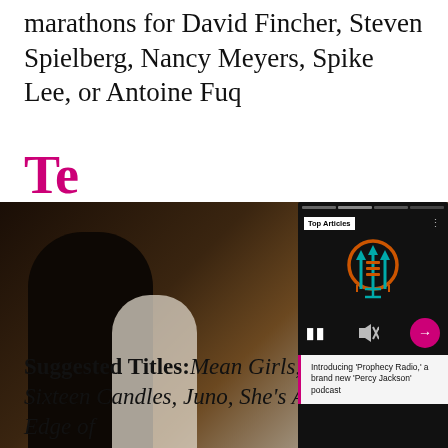marathons for David Fincher, Steven Spielberg, Nancy Meyers, Spike Lee, or Antoine Fuq…
Te…
[Figure (screenshot): A screenshot of a media player popup overlay showing 'Top Articles' badge, a podcast logo (trident/microphone icon in teal and orange on black background), pause and mute controls, a pink circular arrow button, and text reading: Introducing 'Prophecy Radio,' a brand new 'Percy Jackson' podcast. Below is a photo of people in what appears to be an event venue.]
Suggested Titles: Mean Girls, Easy A, Sixteen Candles, Juno, She's All That, The Edge of